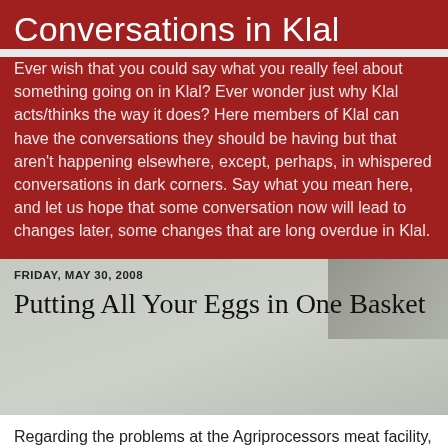Conversations in Klal
Ever wish that you could say what you really feel about something going on in Klal? Ever wonder just why Klal acts/thinks the way it does? Here members of Klal can have the conversations they should be having but that aren't happening elsewhere, except, perhaps, in whispered conversations in dark corners. Say what you mean here, and let us hope that some conversation now will lead to changes later, some changes that are long overdue in Klal.
FRIDAY, MAY 30, 2008
Putting All Your Eggs in One Basket
Regarding the problems at the Agriprocessors meat facility, let me state up front that I know only what I've read in the papers or what has been discussed on the various blogs. How much is fact and how much is speculation or opinion I cannot tell you. Stories are